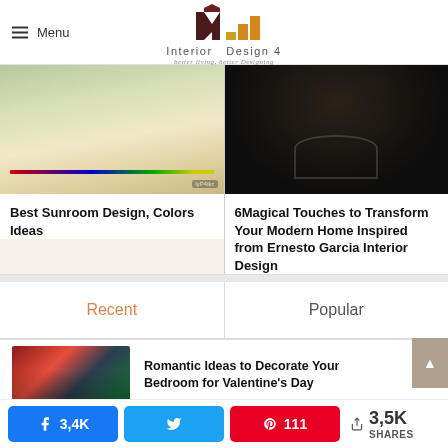Menu — Interior Design 4 — better living, better Designing
[Figure (photo): Sunroom interior photo with colorful pencils/items on desk]
Best Sunroom Design, Colors Ideas
[Figure (photo): Dark overhead view of modern dining/living room from above]
6Magical Touches to Transform Your Modern Home Inspired from Ernesto Garcia Interior Design
Recent
Popular
[Figure (photo): Romantic bedroom decoration for Valentine's Day with red and maroon decor]
Romantic Ideas to Decorate Your Bedroom for Valentine's Day
3,4K shares on Facebook | Twitter | 111 Pinterest | 3,5K SHARES